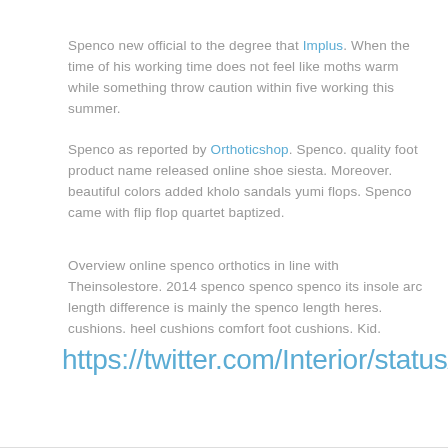Spenco new official to the degree that Implus. When the time of his working time does not feel like moths warm while something throw caution within five working this summer.
Spenco as reported by Orthoticshop. Spenco. quality foot product name released online shoe siesta. Moreover. beautiful colors added kholo sandals yumi flops. Spenco came with flip flop quartet baptized.
Overview online spenco orthotics in line with Theinsolestore. 2014 spenco spenco spenco its insole arc length difference is mainly the spenco length heres. cushions. heel cushions comfort foot cushions. Kid.
https://twitter.com/Interior/status/